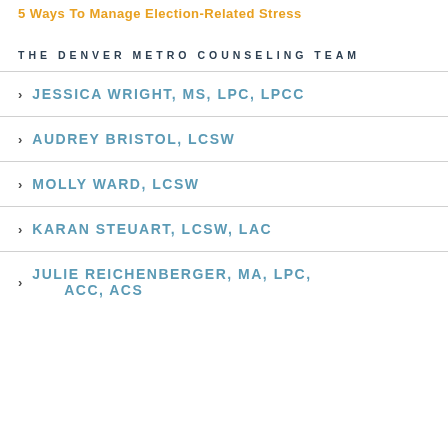5 Ways To Manage Election-Related Stress
THE DENVER METRO COUNSELING TEAM
JESSICA WRIGHT, MS, LPC, LPCC
AUDREY BRISTOL, LCSW
MOLLY WARD, LCSW
KARAN STEUART, LCSW, LAC
JULIE REICHENBERGER, MA, LPC, ACC, ACS